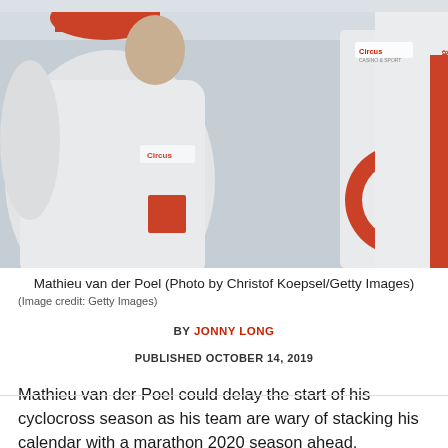[Figure (photo): Two cyclists in white and red Circus Casino & Sport / Alpecin jerseys with Canyon branding, photographed from behind/side. One wears a red cap. Photo by Christof Koepsel/Getty Images.]
Mathieu van der Poel (Photo by Christof Koepsel/Getty Images)
(Image credit: Getty Images)
BY JONNY LONG
PUBLISHED OCTOBER 14, 2019
Mathieu van der Poel could delay the start of his cyclocross season as his team are wary of stacking his calendar with a marathon 2020 season ahead.